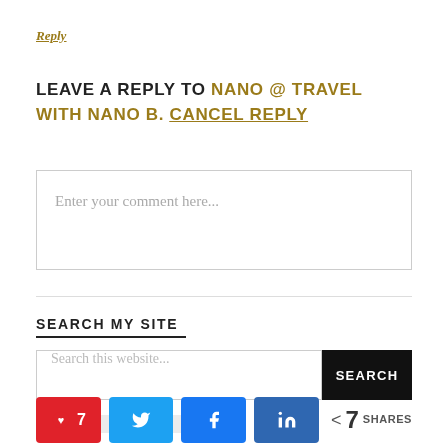Reply
LEAVE A REPLY TO NANO @ TRAVEL WITH NANO B. CANCEL REPLY
Enter your comment here...
SEARCH MY SITE
Search this website...
SEARCH
[Figure (other): Social share bar with Pinterest (7), Twitter, Facebook, LinkedIn buttons and total 7 shares]
7 SHARES